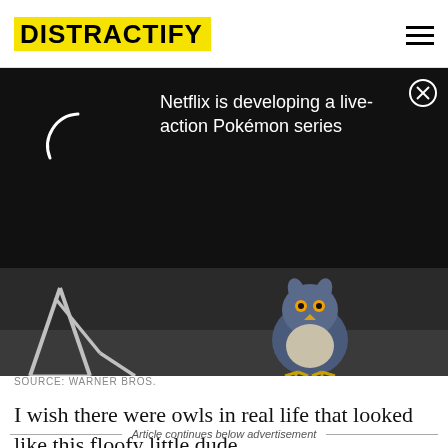DISTRACTIFY
[Figure (screenshot): Black ad overlay with a loading spinner arc on the left and text 'Netflix is developing a live-action Pokémon series' on the right, with a close (X) button in the top-right corner]
[Figure (photo): Dark background photo showing a fluffy animated owl character (resembling a Pokémon) standing on a surface with metallic stand/tripod legs visible on the left]
SOURCE: WARNER BROS.
I wish there were owls in real life that looked like this floofy little dude.
Article continues below advertisement